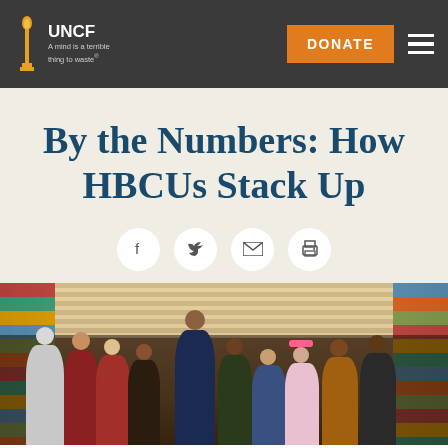UNCF — A mind is a terrible thing to waste | DONATE
By the Numbers: How HBCUs Stack Up
[Figure (photo): Group photo of diverse college students and adults posing together in a library setting with bookshelves and window blinds in the background]
[Figure (infographic): Social sharing icons: Facebook, Twitter, Email, Print]